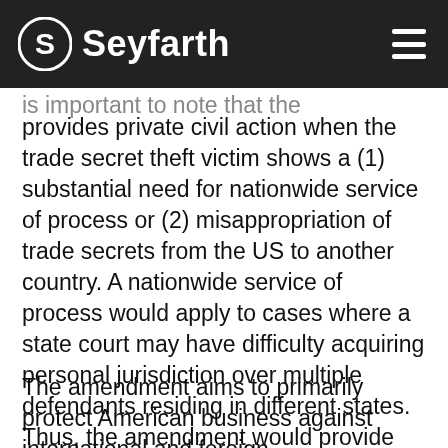Seyfarth
compensation for their losses in federal court. is important to note that the amendment only provides private civil action when the trade secret theft victim shows a (1) substantial need for nationwide service of process or (2) misappropriation of trade secrets from the US to another country. A nationwide service of process would apply to cases where a state court may have difficulty acquiring personal jurisdiction over multiple defendants residing in different states. Thus, the amendment would provide relief in cases where the federal court's jurisdiction extends beyond the territorial limitations of the state court.
The amendment aims to primarily protect American business against international and foreign